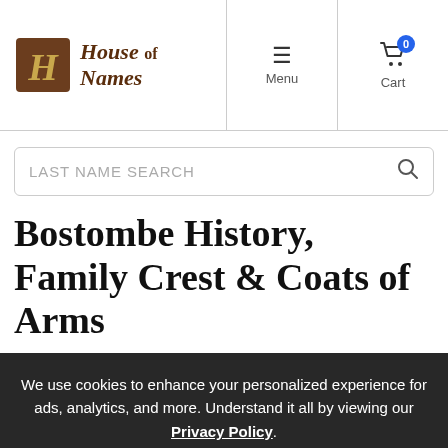[Figure (logo): House of Names logo with gothic H icon and blackletter text]
LAST NAME SEARCH
Bostombe History, Family Crest & Coats of Arms
We use cookies to enhance your personalized experience for ads, analytics, and more. Understand it all by viewing our Privacy Policy.
Accept & Continue